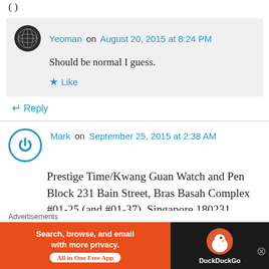( )
Yeoman on August 20, 2015 at 8:24 PM
Should be normal I guess.
Like
Reply
Mark on September 25, 2015 at 2:38 AM
Prestige Time/Kwang Guan Watch and Pen Block 231 Bain Street, Bras Basah Complex #01-25 (and #01-37), Singapore 180231
Advertisements
[Figure (screenshot): DuckDuckGo advertisement banner: orange and black banner with text 'Search, browse, and email with more privacy. All in One Free App' and DuckDuckGo logo]